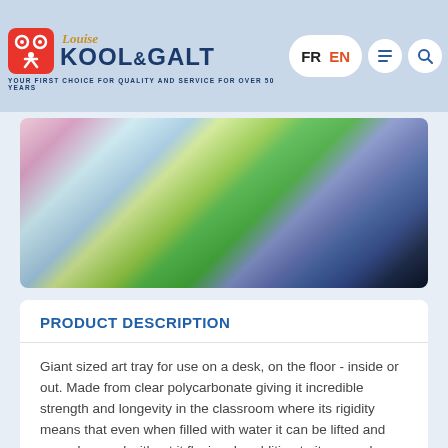Louise Kool & Galt — YOUR FIRST CHOICE FOR QUALITY AND SERVICE FOR OVER 50 YEARS — FR | EN
[Figure (photo): Blurred/out-of-focus photo showing colorful art supplies including pink, white, green and dark blue/black items on a tray, partially cropped at top of product page]
PRODUCT DESCRIPTION
Giant sized art tray for use on a desk, on the floor - inside or out. Made from clear polycarbonate giving it incredible strength and longevity in the classroom where its rigidity means that even when filled with water it can be lifted and moved around without it flexing. In addition to its everyday uses with a variety of liquids and textures for general artwork the tray has been cleverly designed to fit over our Small Rectangular Light Panel (540-004). Ages 3+.